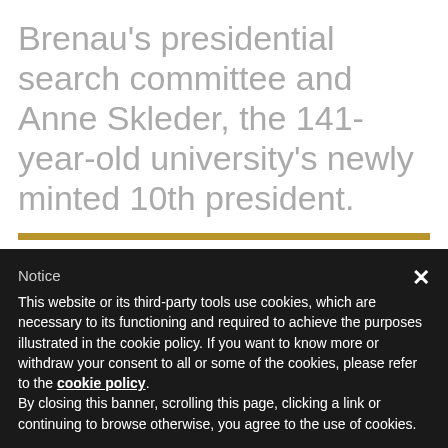Brenau's presidential search committee and Anne Skleder, the 141-year-old university's newly minted 10th president.
By Ben McDade
Notice
This website or its third-party tools use cookies, which are necessary to its functioning and required to achieve the purposes illustrated in the cookie policy. If you want to know more or withdraw your consent to all or some of the cookies, please refer to the cookie policy. By closing this banner, scrolling this page, clicking a link or continuing to browse otherwise, you agree to the use of cookies.